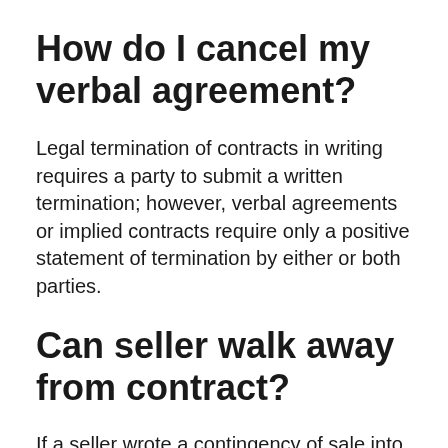How do I cancel my verbal agreement?
Legal termination of contracts in writing requires a party to submit a written termination; however, verbal agreements or implied contracts require only a positive statement of termination by either or both parties.
Can seller walk away from contract?
If a seller wrote a contingency of sale into the contract, they can legally walk away if the house they were trying to buy fell through. It's important to understand that